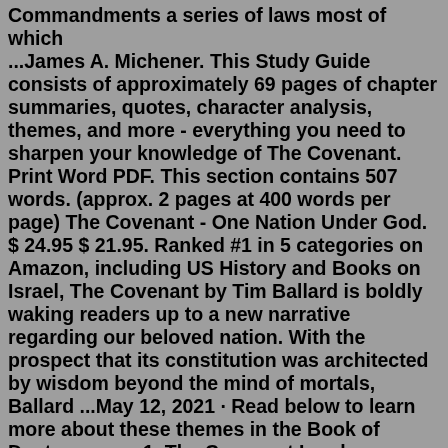Commandments a series of laws most of which ...James A. Michener. This Study Guide consists of approximately 69 pages of chapter summaries, quotes, character analysis, themes, and more - everything you need to sharpen your knowledge of The Covenant. Print Word PDF. This section contains 507 words. (approx. 2 pages at 400 words per page) The Covenant - One Nation Under God. $ 24.95 $ 21.95. Ranked #1 in 5 categories on Amazon, including US History and Books on Israel, The Covenant by Tim Ballard is boldly waking readers up to a new narrative regarding our beloved nation. With the prospect that its constitution was architected by wisdom beyond the mind of mortals, Ballard ...May 12, 2021 · Read below to learn more about these themes in the Book of Deuteronomy. 1. The Covenant Land as “Promised Land”. The opening words of the first sermon stress Israel’s conquest of Canaan as part of a long-range plan of God. “See, I have set the land before you. Go in and take possession of the land that the Lord swore to your